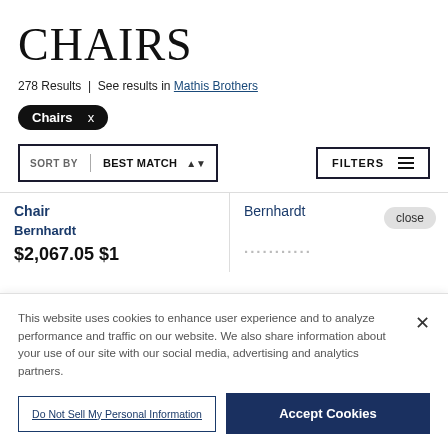CHAIRS
278 Results | See results in Mathis Brothers
Chairs x
SORT BY | BEST MATCH | FILTERS
Chair
Bernhardt
$2,067.05 $1
Bernhardt
close
This website uses cookies to enhance user experience and to analyze performance and traffic on our website. We also share information about your use of our site with our social media, advertising and analytics partners.
Do Not Sell My Personal Information
Accept Cookies